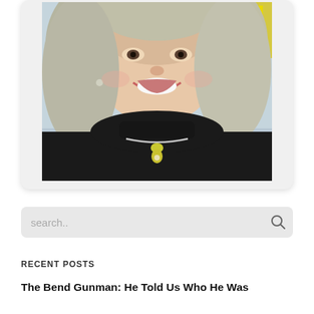[Figure (photo): A woman with gray-blonde hair smiling, wearing a black turtleneck sweater and a gold/green pendant necklace on a silver chain. Photo shown in a rounded white card frame.]
search..
RECENT POSTS
The Bend Gunman: He Told Us Who He Was